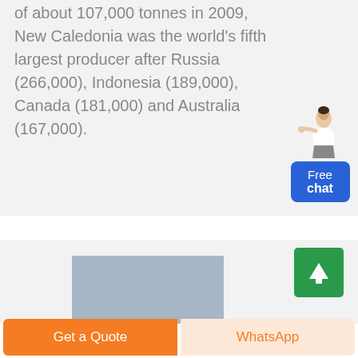of about 107,000 tonnes in 2009, New Caledonia was the world's fifth largest producer after Russia (266,000), Indonesia (189,000), Canada (181,000) and Australia (167,000).
[Figure (other): Chat widget showing a person figure and a blue 'Free chat' button]
[Figure (bar-chart): Partially visible bar chart showing bars, bottom portion cut off]
[Figure (other): Green scroll-to-top button with upward arrow]
Get a Quote
WhatsApp